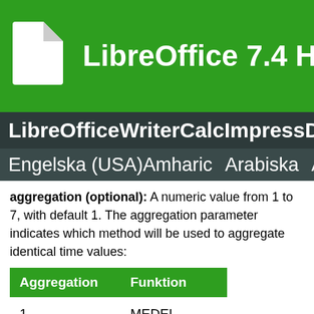LibreOffice 7.4 Hjälp
LibreOffice  Writer  Calc  Impress  Draw
Engelska (USA)  Amharic  Arabiska  As
aggregation (optional): A numeric value from 1 to 7, with default 1. The aggregation parameter indicates which method will be used to aggregate identical time values:
| Aggregation | Funktion |
| --- | --- |
| 1 | MEDEL |
| 2 | ANTAL |
| 3 | ANTALV |
| 4 | MAX |